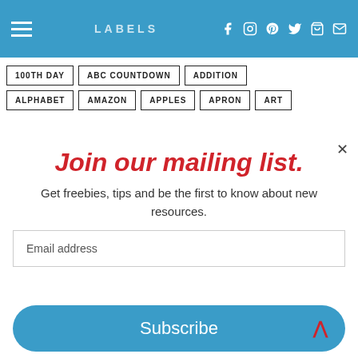LABELS
100TH DAY
ABC COUNTDOWN
ADDITION
ALPHABET
AMAZON
APPLES
APRON
ART
Join our mailing list.
Get freebies, tips and be the first to know about new resources.
Email address
Subscribe